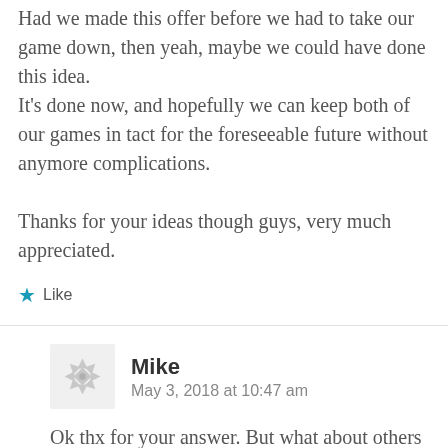Had we made this offer before we had to take our game down, then yeah, maybe we could have done this idea.
It's done now, and hopefully we can keep both of our games in tact for the foreseeable future without anymore complications.

Thanks for your ideas though guys, very much appreciated.
Like
Mike
May 3, 2018 at 10:47 am
Ok thx for your answer. But what about others creators on patreon use some artset of D ? There is a lot. She is a real star on patreon 🙂 !.. I a little bit myself on patreon, but to can put some share